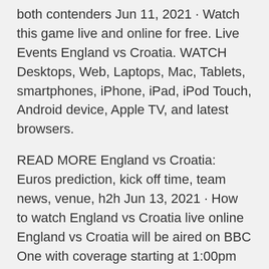both contenders Jun 11, 2021 · Watch this game live and online for free. Live Events England vs Croatia. WATCH Desktops, Web, Laptops, Mac, Tablets, smartphones, iPhone, iPad, iPod Touch, Android device, Apple TV, and latest browsers.
READ MORE England vs Croatia: Euros prediction, kick off time, team news, venue, h2h Jun 13, 2021 · How to watch England vs Croatia live online England vs Croatia will be aired on BBC One with coverage starting at 1:00pm UK time. Online viewers will be able to tune for free via the BBC iPlayer · AT&T TV Free Trial. Once signed up for AT&T TV, you can watch England vs Croatia live on the AT&T TV app, which is available on your Roku, Roku TV, Amazon Fire TV or Fire Stick, Apple TV · The BBC and ITV are sharing the U.K. rights to Euro 2020's 51 games and the England vs Croatia